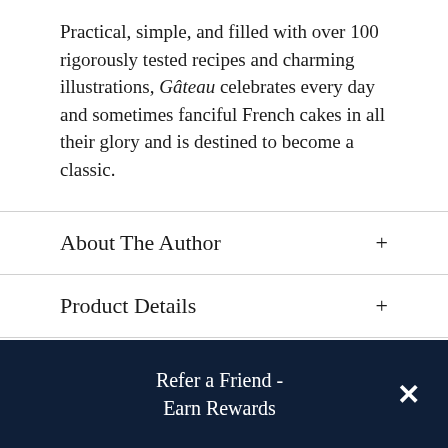Practical, simple, and filled with over 100 rigorously tested recipes and charming illustrations, Gâteau celebrates every day and sometimes fanciful French cakes in all their glory and is destined to become a classic.
About The Author
Product Details
Raves and Reviews
Resources and Downloads
Refer a Friend - Earn Rewards